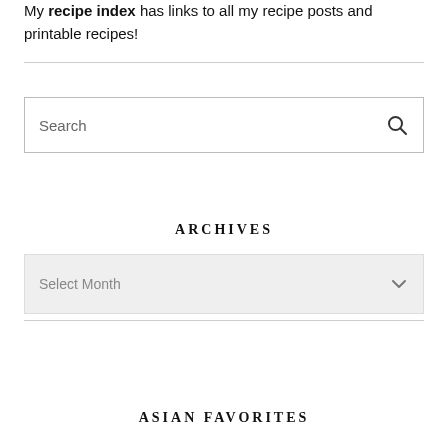My recipe index has links to all my recipe posts and printable recipes!
ARCHIVES
ASIAN FAVORITES